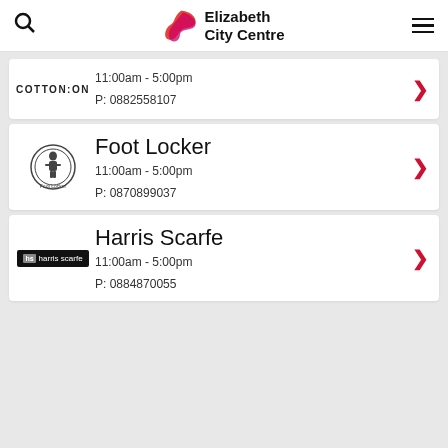Elizabeth City Centre - header with search and menu icons
COTTON:ON - 11:00am - 5:00pm - P: 0882558107
Foot Locker - 11:00am - 5:00pm - P: 0870899037
Harris Scarfe - 11:00am - 5:00pm - P: 0884870055